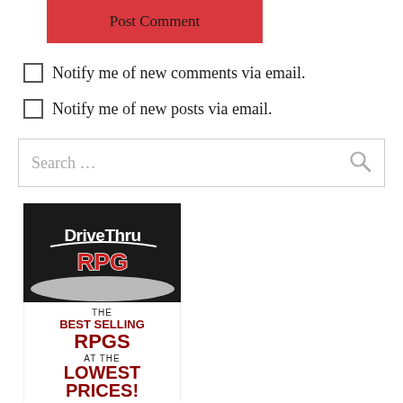[Figure (other): Red 'Post Comment' button]
Notify me of new comments via email.
Notify me of new posts via email.
Search ...
[Figure (illustration): DriveThruRPG advertisement image with logo on dark background and text: THE BEST SELLING RPGS AT THE LOWEST PRICES!]